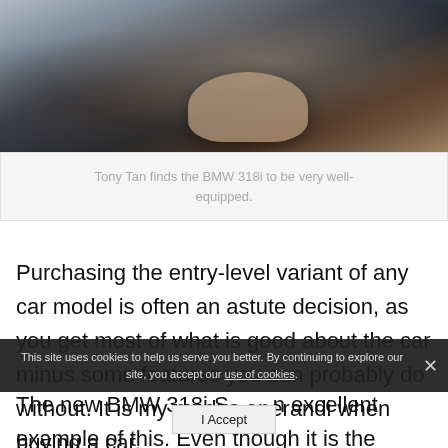[Figure (photo): A person's hand resting on a car's gear shifter/center console inside a BMW 318i, showing the interior controls.]
Tony Tan finds the BMW 318i to be very well-equipped.
Purchasing the entry-level variant of any car model is often an astute decision, as you get most of what is good about the car minus some features you can probably do without. It is my modus operandi when buying a car.
The new BMW 318i S[…]n excellent example of this. Even though it is the starting
This site uses cookies to help us serve you better. By continuing to explore our site, you accept our use of cookies.